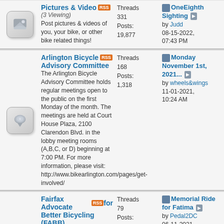Pictures & Video (3 Viewing) - Post pictures & videos of you, your bike, or other bike related things! Threads: 331, Posts: 19,877. Last post: OneEighth Sighting by Judd 08-15-2022, 07:43 PM
Arlington Bicycle Advisory Committee - The Arlington Bicycle Advisory Committee holds regular meetings open to the public on the first Monday of the month. The meetings are held at Court House Plaza, 2100 Clarendon Blvd. in the lobby meeting rooms (A,B,C, or D) beginning at 7:00 PM. For more information, please visit: http://www.bikearlington.com/pages/get-involved/ Threads: 168, Posts: 1,318. Last post: Monday November 1st, 2021... by wheels&wings 11-01-2021, 10:24 AM
Fairfax Advocates for Better Bicycling (FABB) - FABB meets on the third Wednesay of the month. The meetings are held from 7:30-9pm at Patrick Henry Library, 101 Maple Avenue East Vienna near the W&OD Trail. All are welcome. For more information contact Bruce Wright at chairman@fabb-bi... Threads: 79, Posts: 450. Last post: Memorial Ride for Fatima by Pedal2DC 06-11-2021, 05:19 AM